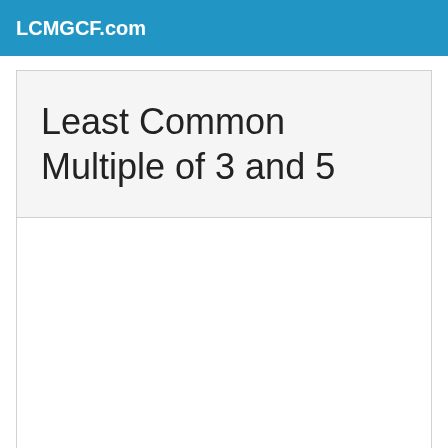LCMGCF.com
Least Common Multiple of 3 and 5